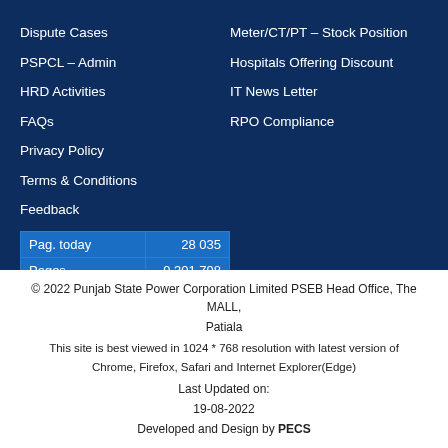Dispute Cases
PSPCL – Admin
HRD Activities
FAQs
Privacy Policy
Terms & Conditions
Feedback
Meter/CT/PT – Stock Position
Hospitals Offering Discount
IT News Letter
RPO Compliance
|  |  |
| --- | --- |
| Pag. today | 28 035 |
| Pages | 9 301 798 |
© 2022 Punjab State Power Corporation Limited PSEB Head Office, The MALL, Patiala
This site is best viewed in 1024 * 768 resolution with latest version of Chrome, Firefox, Safari and Internet Explorer(Edge)
Last Updated on:
19-08-2022
Developed and Design by PECS